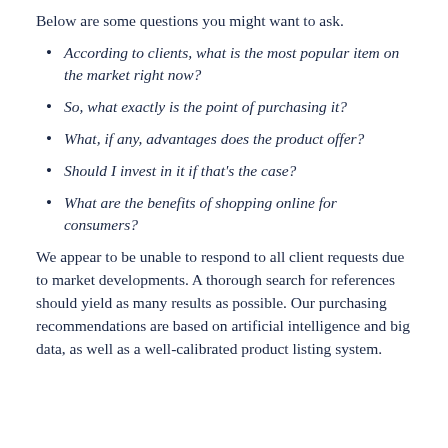Below are some questions you might want to ask.
According to clients, what is the most popular item on the market right now?
So, what exactly is the point of purchasing it?
What, if any, advantages does the product offer?
Should I invest in it if that's the case?
What are the benefits of shopping online for consumers?
We appear to be unable to respond to all client requests due to market developments. A thorough search for references should yield as many results as possible. Our purchasing recommendations are based on artificial intelligence and big data, as well as a well-calibrated product listing system.